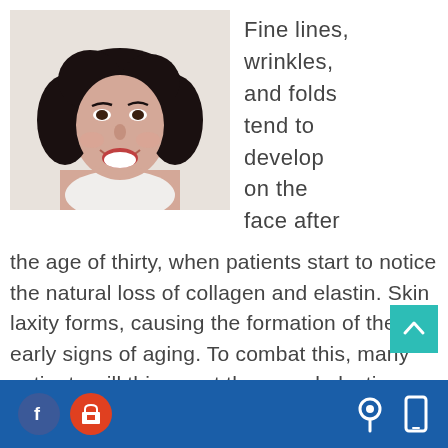[Figure (photo): Smiling woman with dark curly hair, portrait-style photo, white background]
Fine lines, wrinkles, and folds tend to develop on the face after the age of thirty, when patients start to notice the natural loss of collagen and elastin. Skin laxity forms, causing the formation of the early signs of aging. To combat this, many patients will think they need plastic surgery procedures such as brow lifts or facelifts to achieve a more youthful look
Footer with Facebook icon, shop icon, location icon, mobile icon on blue background